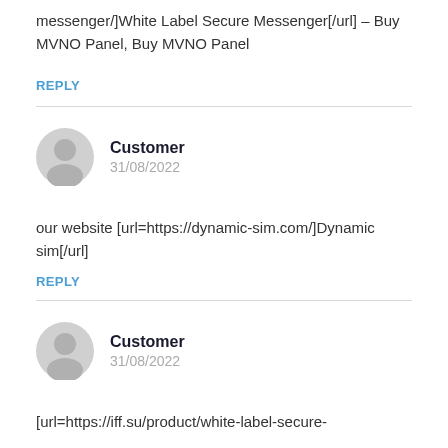messenger/]White Label Secure Messenger[/url] – Buy MVNO Panel, Buy MVNO Panel
REPLY
Customer
31/08/2022
our website [url=https://dynamic-sim.com/]Dynamic sim[/url]
REPLY
Customer
31/08/2022
[url=https://iff.su/product/white-label-secure-